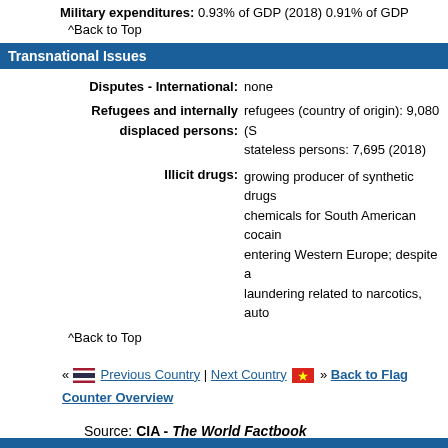Military expenditures: 0.93% of GDP (2018) 0.91% of GDP
^Back to Top
Transnational Issues
Disputes - International: none
Refugees and internally displaced persons: refugees (country of origin): 9,080 (S) stateless persons: 7,695 (2018)
Illicit drugs: growing producer of synthetic drugs chemicals for South American cocain entering Western Europe; despite a laundering related to narcotics, auto
^Back to Top
« Previous Country | Next Country » Back to Flag Counter Overview
Source: CIA - The World Factbook